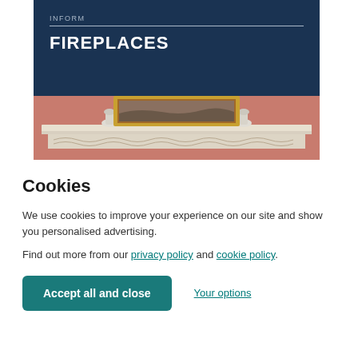[Figure (screenshot): Book cover for 'Inform Fireplaces' showing dark navy blue header with 'INFORM' label and horizontal divider, 'FIREPLACES' title in white bold text, and below a photograph of an ornate classical white marble fireplace mantel with decorative carved frieze, two ceramic urn ornaments on the mantelshelf, and a gilded framed painting above on a salmon/terracotta colored wall.]
Cookies
We use cookies to improve your experience on our site and show you personalised advertising.
Find out more from our privacy policy and cookie policy.
Accept all and close
Your options